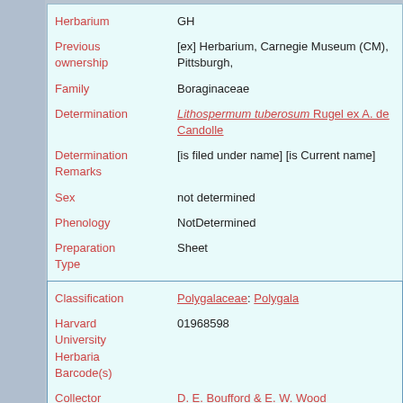| Field | Value |
| --- | --- |
| Herbarium | GH |
| Previous ownership | [ex] Herbarium, Carnegie Museum (CM), Pittsburgh, |
| Family | Boraginaceae |
| Determination | Lithospermum tuberosum Rugel ex A. de Candolle |
| Determination Remarks | [is filed under name] [is Current name] |
| Sex | not determined |
| Phenology | NotDetermined |
| Preparation Type | Sheet |
| Preparation Method | Pressed |
| Field | Value |
| --- | --- |
| Classification | Polygalaceae: Polygala |
| Harvard University Herbaria Barcode(s) | 01968598 |
| Collector | D. E. Boufford & E. W. Wood |